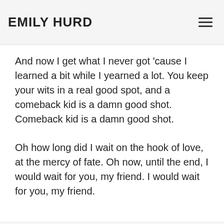EMILY HURD
And now I get what I never got 'cause I learned a bit while I yearned a lot. You keep your wits in a real good spot, and a comeback kid is a damn good shot. Comeback kid is a damn good shot.
Oh how long did I wait on the hook of love, at the mercy of fate. Oh now, until the end, I would wait for you, my friend. I would wait for you, my friend.